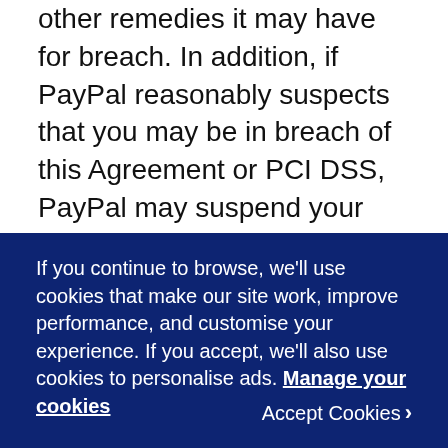other remedies it may have for breach. In addition, if PayPal reasonably suspects that you may be in breach of this Agreement or PCI DSS, PayPal may suspend your use of your Product pending further investigation.
If PayPal suspends your access to the Product, PayPal will notify you and explain the basis of PayPal's actions in suspending your use of the Product, and may specify corrective actions to cure the breach and have the suspension lifted. PayPal's
If you continue to browse, we'll use cookies that make our site work, improve performance, and customise your experience. If you accept, we'll also use cookies to personalise ads. Manage your cookies
Accept Cookies ›